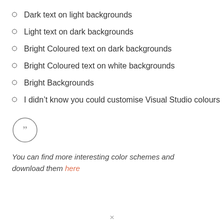Dark text on light backgrounds
Light text on dark backgrounds
Bright Coloured text on dark backgrounds
Bright Coloured text on white backgrounds
Bright Backgrounds
I didn't know you could customise Visual Studio colours
[Figure (illustration): A circled double closing quotation mark icon]
You can find more interesting color schemes and download them here